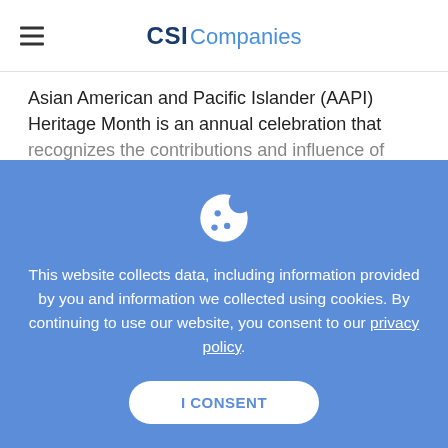CSI Companies
Asian American and Pacific Islander (AAPI) Heritage Month is an annual celebration that recognizes the contributions and influence of
[Figure (illustration): Cookie consent overlay with cookie icon on blue background. Text reads: This website collects data, including information provided by you and information we collected using cookies. By continuing to use our website, you consent to our privacy policy. Button: I CONSENT]